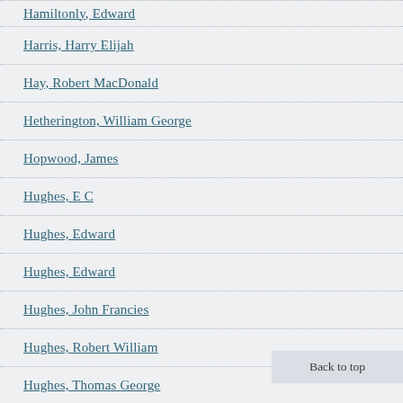Hamiltonly, Edward
Harris, Harry Elijah
Hay, Robert MacDonald
Hetherington, William George
Hopwood, James
Hughes, E C
Hughes, Edward
Hughes, Edward
Hughes, John Francies
Hughes, Robert William
Hughes, Thomas George